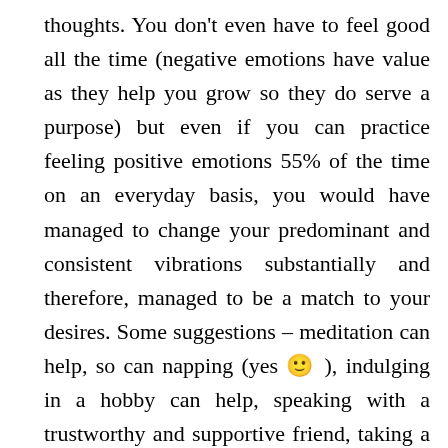thoughts. You don't even have to feel good all the time (negative emotions have value as they help you grow so they do serve a purpose) but even if you can practice feeling positive emotions 55% of the time on an everyday basis, you would have managed to change your predominant and consistent vibrations substantially and therefore, managed to be a match to your desires. Some suggestions – meditation can help, so can napping (yes 🙂 ), indulging in a hobby can help, speaking with a trustworthy and supportive friend, taking a walk next to nature, a relaxing warm bath – these (or any other way/ process that gives you relief, which makes you feel better, which makes it easy for you to feel good) are all general ways to feel good, practice your vibrational muscle, develop better shock